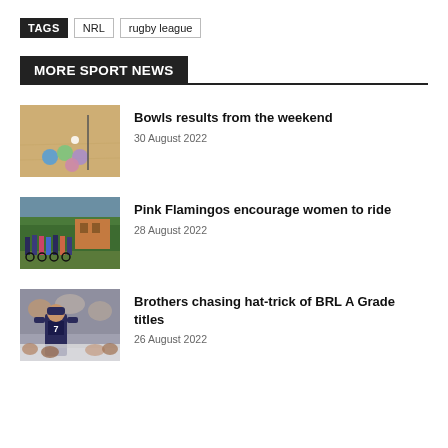TAGS  NRL  rugby league
MORE SPORT NEWS
[Figure (photo): Bowls on a sandy court with colored balls]
Bowls results from the weekend
30 August 2022
[Figure (photo): Group of women cyclists standing together outdoors]
Pink Flamingos encourage women to ride
28 August 2022
[Figure (photo): Rugby league player with crowd in background]
Brothers chasing hat-trick of BRL A Grade titles
26 August 2022